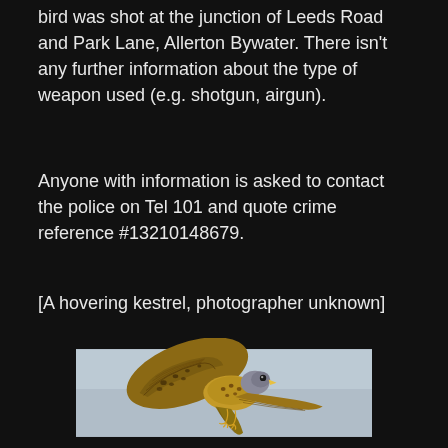bird was shot at the junction of Leeds Road and Park Lane, Allerton Bywater. There isn't any further information about the type of weapon used (e.g. shotgun, airgun).
Anyone with information is asked to contact the police on Tel 101 and quote crime reference #13210148679.
[A hovering kestrel, photographer unknown]
[Figure (photo): A hovering kestrel bird photographed against a pale blue-grey sky, wings spread upward showing detailed brown and black patterned feathers.]